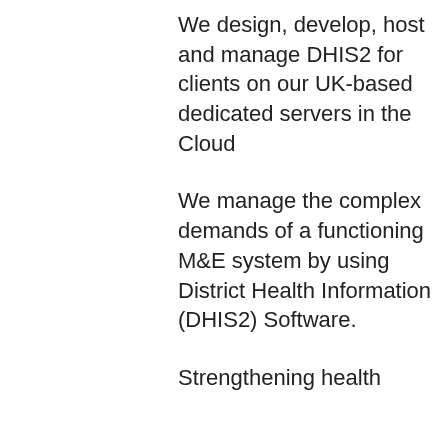We design, develop, host and manage DHIS2 for clients on our UK-based dedicated servers in the Cloud
We manage the complex demands of a functioning M&E system by using District Health Information (DHIS2) Software.
Strengthening health